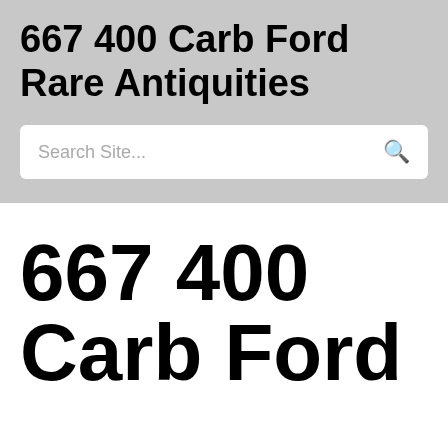667 400 Carb Ford Rare Antiquities
Search Site...
667 400 Carb Ford